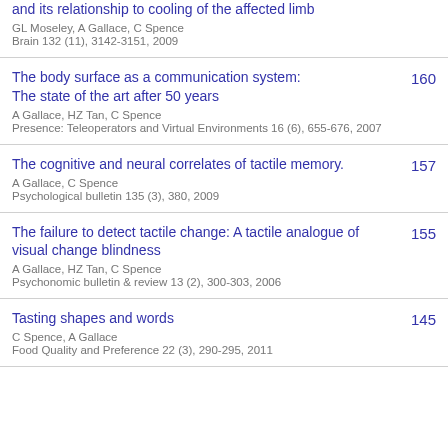and its relationship to cooling of the affected limb
GL Moseley, A Gallace, C Spence
Brain 132 (11), 3142-3151, 2009
The body surface as a communication system: The state of the art after 50 years
A Gallace, HZ Tan, C Spence
Presence: Teleoperators and Virtual Environments 16 (6), 655-676, 2007
160
The cognitive and neural correlates of tactile memory.
A Gallace, C Spence
Psychological bulletin 135 (3), 380, 2009
157
The failure to detect tactile change: A tactile analogue of visual change blindness
A Gallace, HZ Tan, C Spence
Psychonomic bulletin & review 13 (2), 300-303, 2006
155
Tasting shapes and words
C Spence, A Gallace
Food Quality and Preference 22 (3), 290-295, 2011
145